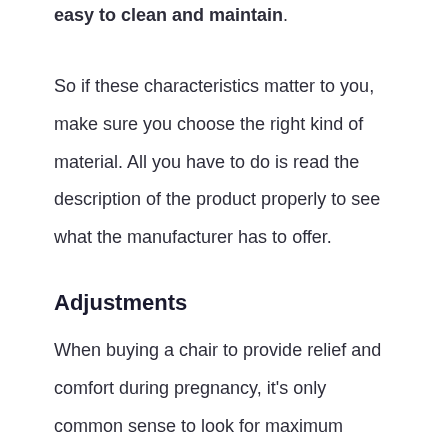easy to clean and maintain.
So if these characteristics matter to you, make sure you choose the right kind of material. All you have to do is read the description of the product properly to see what the manufacturer has to offer.
Adjustments
When buying a chair to provide relief and comfort during pregnancy, it's only common sense to look for maximum